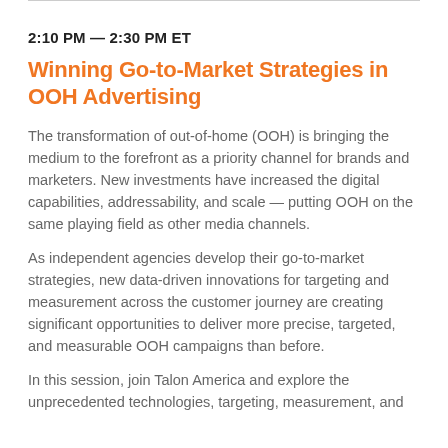2:10 PM — 2:30 PM ET
Winning Go-to-Market Strategies in OOH Advertising
The transformation of out-of-home (OOH) is bringing the medium to the forefront as a priority channel for brands and marketers. New investments have increased the digital capabilities, addressability, and scale — putting OOH on the same playing field as other media channels.
As independent agencies develop their go-to-market strategies, new data-driven innovations for targeting and measurement across the customer journey are creating significant opportunities to deliver more precise, targeted, and measurable OOH campaigns than before.
In this session, join Talon America and explore the unprecedented technologies, targeting, measurement, and